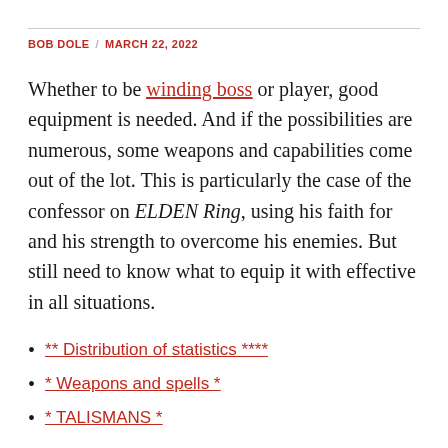BOB DOLE / MARCH 22, 2022
Whether to be winding boss or player, good equipment is needed. And if the possibilities are numerous, some weapons and capabilities come out of the lot. This is particularly the case of the confessor on ELDEN Ring, using his faith for and his strength to overcome his enemies. But still need to know what to equip it with effective in all situations.
** Distribution of statistics ****
* Weapons and spells *
* TALISMANS *